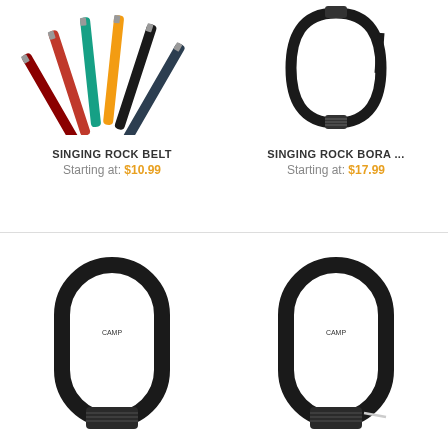[Figure (photo): Multiple colorful climbing belt straps/webbing in red, blue, yellow, black fanned out]
[Figure (photo): Black Singing Rock Bora carabiner with screw lock gate]
SINGING ROCK BELT
Starting at: $10.99
SINGING ROCK BORA ...
Starting at: $17.99
[Figure (photo): Black oval carabiner with screw lock gate, closed]
[Figure (photo): Black oval carabiner with screw lock gate, partially open showing wire gate]